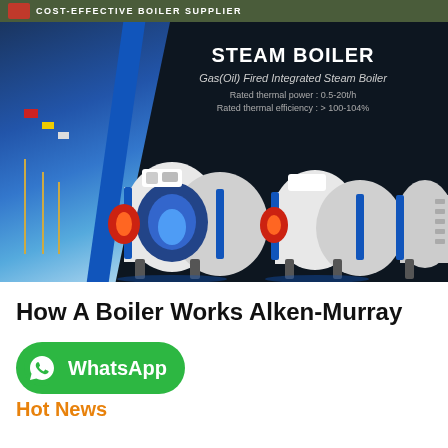COST-EFFECTIVE BOILER SUPPLIER
[Figure (photo): Steam boiler product advertisement banner showing industrial gas/oil fired integrated steam boilers on dark background with building and flags on the left. Text overlay: STEAM BOILER, Gas(Oil) Fired Integrated Steam Boiler, Rated thermal power: 0.5-20t/h, Rated thermal efficiency: >100-104%]
How A Boiler Works Alken-Murray
[Figure (logo): WhatsApp button - green rounded rectangle with WhatsApp phone icon and text 'WhatsApp']
Hot News